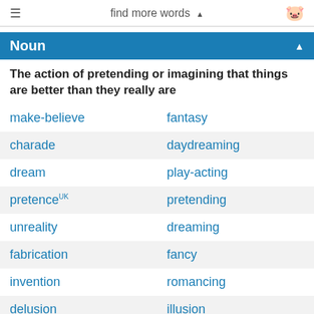find more words ▲
Noun
The action of pretending or imagining that things are better than they really are
make-believe
fantasy
charade
daydreaming
dream
play-acting
pretenceUK
pretending
unreality
dreaming
fabrication
fancy
invention
romancing
delusion
illusion
masquerade
self-deception
disguise
dissimulation